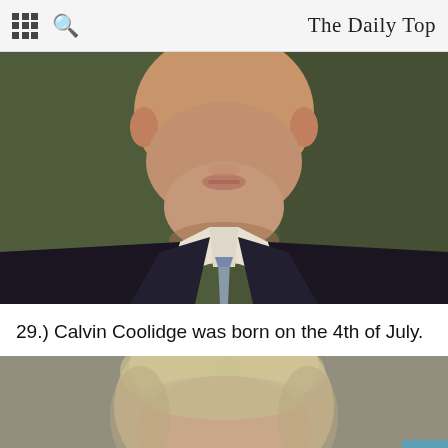The Daily Top
[Figure (photo): Close-up portrait painting of Calvin Coolidge, showing face, white collar, and dark suit with blue tie, painted portrait style against dark olive/green background]
29.) Calvin Coolidge was born on the 4th of July.
[Figure (photo): Portrait photo of a man with light blond/grey hair against a tan/olive background, cropped showing top of head and forehead]